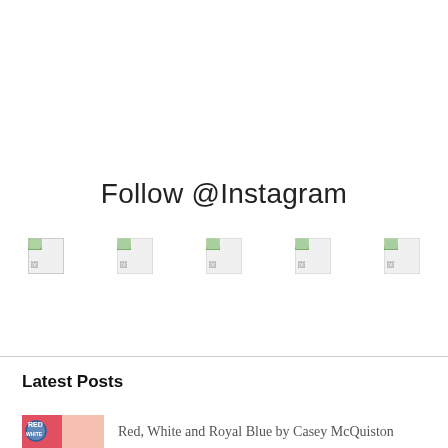Follow @Instagram
[Figure (photo): Row of 5 broken/placeholder Instagram image thumbnails]
Latest Posts
[Figure (photo): Book cover thumbnail: Red, White and Royal Blue (red and white colors, circular logo)]
Red, White and Royal Blue by Casey McQuiston